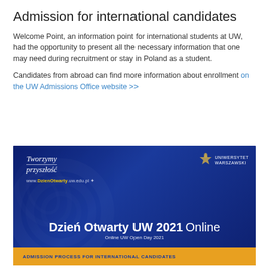Admission for international candidates
Welcome Point, an information point for international students at UW, had the opportunity to present all the necessary information that one may need during recruitment or stay in Poland as a student.
Candidates from abroad can find more information about enrollment on the UW Admissions Office website >>
[Figure (photo): University of Warsaw Open Day 2021 promotional banner. Dark blue background with decorative swirl pattern. Text: 'Tworzymy przyszłość', website URL, UW eagle logo with 'UNIWERSYTET WARSZAWSKI', large heading 'Dzień Otwarty UW 2021 Online', subtitle 'Online UW Open Day 2021', yellow bar at bottom reading 'ADMISSION PROCESS FOR INTERNATIONAL CANDIDATES'.]